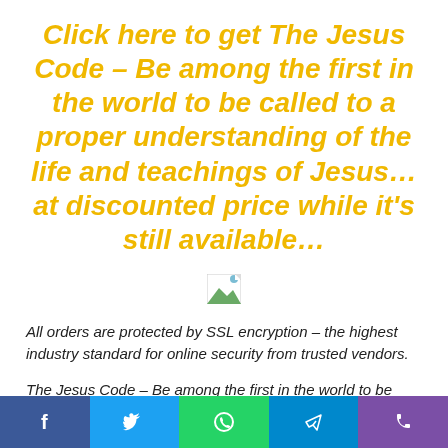Click here to get The Jesus Code – Be among the first in the world to be called to a proper understanding of the life and teachings of Jesus… at discounted price while it's still available…
[Figure (illustration): Broken/missing image placeholder icon]
All orders are protected by SSL encryption – the highest industry standard for online security from trusted vendors.
The Jesus Code – Be among the first in the world to be called to a proper understanding of the life and teachings of Jesus… is backed with a 60 Day No Questions Asked
Social share bar: Facebook, Twitter, WhatsApp, Telegram, Phone